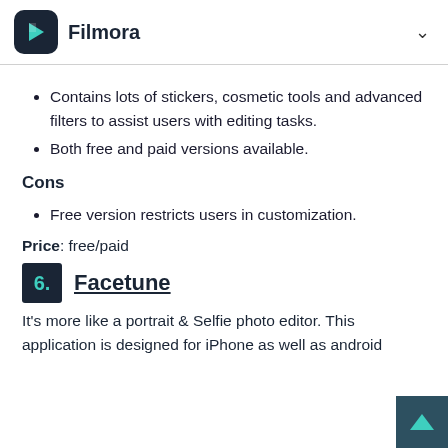Filmora
Contains lots of stickers, cosmetic tools and advanced filters to assist users with editing tasks.
Both free and paid versions available.
Cons
Free version restricts users in customization.
Price: free/paid
[Figure (logo): Aviary logo image]
6. Facetune
It's more like a portrait & Selfie photo editor. This application is designed for iPhone as well as android